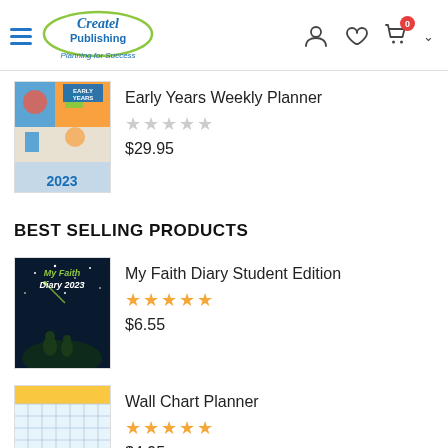Createl Publishing — Planning for Success
Early Years Weekly Planner
★★★★★ (0 stars)
$29.95
BEST SELLING PRODUCTS
My Faith Diary Student Edition
★★★★★
$6.55
Wall Chart Planner
★★★★★
$4.95